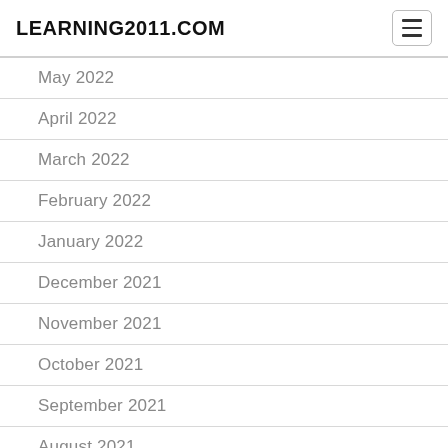LEARNING2011.COM
May 2022
April 2022
March 2022
February 2022
January 2022
December 2021
November 2021
October 2021
September 2021
August 2021